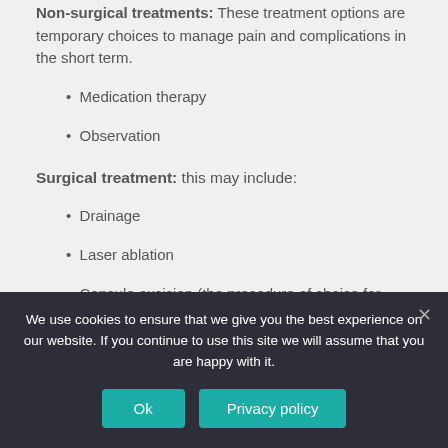Non-surgical treatments: These treatment options are temporary choices to manage pain and complications in the short term.
Medication therapy
Observation
Surgical treatment: this may include:
Drainage
Laser ablation
Capsule excision (the procedure of choice for most top experts)
Find The best Question
We use cookies to ensure that we give you the best experience on our website. If you continue to use this site we will assume that you are happy with it.